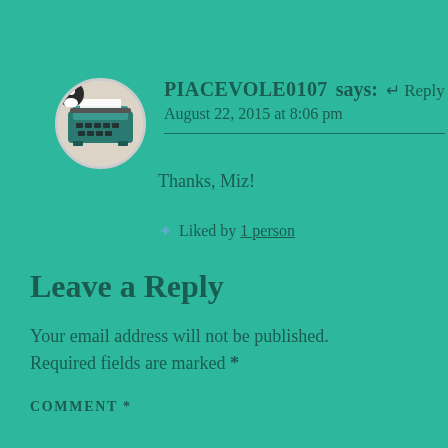PIACEVOLE0107 says:  ↵ Reply
August 22, 2015 at 8:06 pm
Thanks, Miz!
★ Liked by 1 person
Leave a Reply
Your email address will not be published. Required fields are marked *
COMMENT *